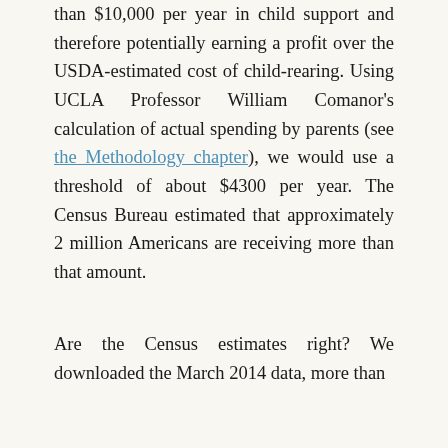than $10,000 per year in child support and therefore potentially earning a profit over the USDA-estimated cost of child-rearing. Using UCLA Professor William Comanor's calculation of actual spending by parents (see the Methodology chapter), we would use a threshold of about $4300 per year. The Census Bureau estimated that approximately 2 million Americans are receiving more than that amount.
Are the Census estimates right? We downloaded the March 2014 data, more than 100,000 records, and did...